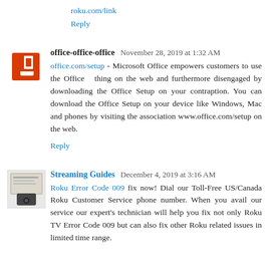roku.com/link
Reply
office-office-office  November 28, 2019 at 1:32 AM
office.com/setup - Microsoft Office empowers customers to use the Office  thing on the web and furthermore disengaged by downloading the Office Setup on your contraption. You can download the Office Setup on your device like Windows, Mac and phones by visiting the association www.office.com/setup on the web.
Reply
Streaming Guides  December 4, 2019 at 3:16 AM
Roku Error Code 009 fix now! Dial our Toll-Free US/Canada Roku Customer Service phone number. When you avail our service our expert's technician will help you fix not only Roku TV Error Code 009 but can also fix other Roku related issues in limited time range.